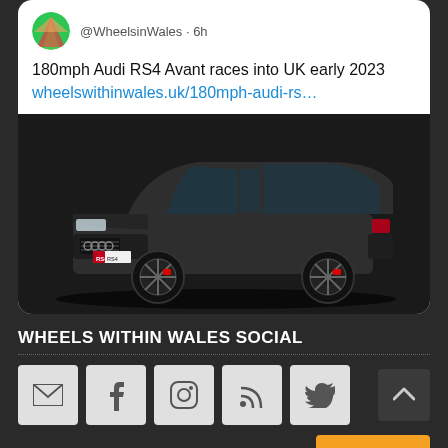[Figure (screenshot): Tweet card from @WheelsinWales posted 6h ago, showing text '180mph Audi RS4 Avant races into UK early 2023' with a link to wheelswithinwales.uk/180mph-audi-rs… and a photo of a dark grey Audi RS4 Avant estate car]
WHEELS WITHIN WALES SOCIAL
[Figure (infographic): Row of 5 social media icon buttons (email envelope, Facebook f, Instagram camera, RSS feed, Twitter bird) on dark background, plus a back-to-top arrow button on the right]
Translate »